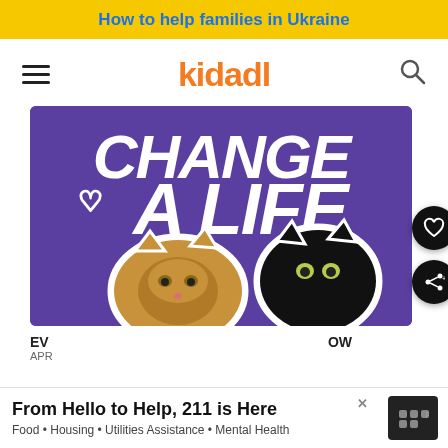How to help families in Ukraine
[Figure (logo): Kidadl logo with hamburger menu and search icon navigation bar]
[Figure (illustration): Purple banner with text 'CHANGE A LIFE' and two cat face stickers — a tabby and a black cat — with a heart outline icon. Charity/pet adoption themed graphic.]
EV
APR
OW
[Figure (screenshot): Advertisement banner: 'From Hello to Help, 211 is Here' with subtitle 'Food • Housing • Utilities Assistance • Mental Health' and a dark logo box on the right.]